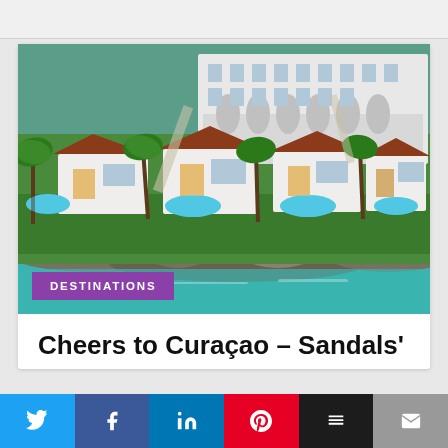[Figure (photo): Aerial view of Sandals resort in Curaçao showing white villas with terracotta roofs, infinity pools with blue water, palm trees, lush green lawns, a large hotel building with arched walkways in the background, and the ocean visible in the foreground with rocky shoreline.]
DESTINATIONS
Cheers to Curaçao – Sandals'